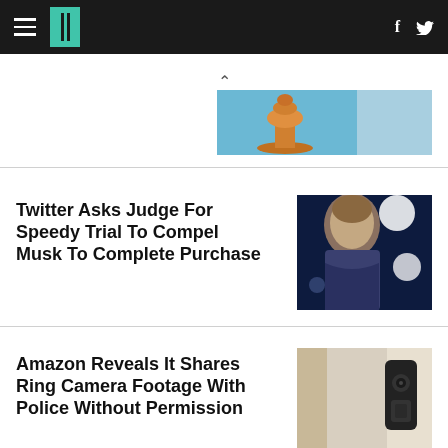HuffPost navigation with hamburger menu, logo, Facebook and Twitter icons
[Figure (photo): Partial ad image with orange/amber colored chess piece or trophy against blue background]
Twitter Asks Judge For Speedy Trial To Compel Musk To Complete Purchase
[Figure (photo): Close-up photo of Elon Musk against dark blue background with bright circular lights]
Amazon Reveals It Shares Ring Camera Footage With Police Without Permission